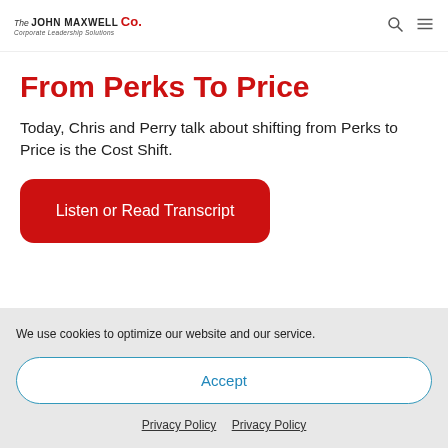The John Maxwell Co. Corporate Leadership Solutions
From Perks To Price
Today, Chris and Perry talk about shifting from Perks to Price is the Cost Shift.
Listen or Read Transcript
We use cookies to optimize our website and our service.
Accept
Privacy Policy  Privacy Policy